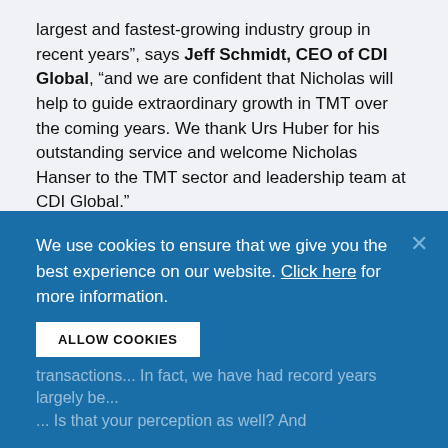largest and fastest-growing industry group in recent years", says Jeff Schmidt, CEO of CDI Global, “and we are confident that Nicholas will help to guide extraordinary growth in TMT over the coming years. We thank Urs Huber for his outstanding service and welcome Nicholas Hanser to the TMT sector and leadership team at CDI Global.”
Recently, Jeff Schmidt had the opportunity to meet with Nicholas to discuss a wide range of topics and issues to get his insights and vision for the future.
Jeff Schmidt Question
What has been the recent trend in middle market
We use cookies to ensure that we give you the best experience on our website. Click here for more information.
transactions... In fact, we have had record years largely be... Is that your perception as well? And